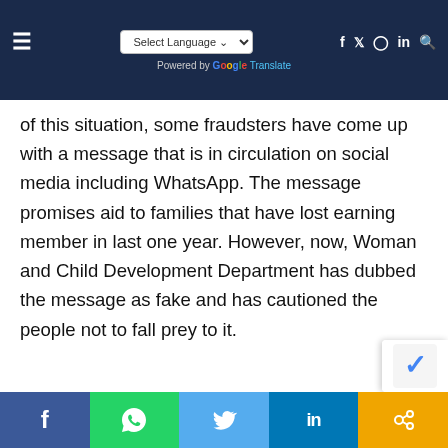Select Language | Powered by Google Translate | Social icons: f, twitter, instagram, in, search
of this situation, some fraudsters have come up with a message that is in circulation on social media including WhatsApp. The message promises aid to families that have lost earning member in last one year. However, now, Woman and Child Development Department has dubbed the message as fake and has cautioned the people not to fall prey to it.
[Figure (photo): Advertisement image for YO bykes - 'Now Open' banner with teal ribbon graphic over yellow sign, text reads 'ELECTRIFYING' at bottom. Logo: YO bykes - Rooted in India Since 2000.]
Social sharing bar: Facebook, WhatsApp, Twitter, LinkedIn, Link